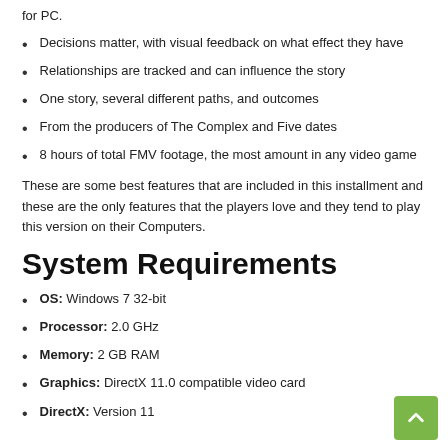for PC.
Decisions matter, with visual feedback on what effect they have
Relationships are tracked and can influence the story
One story, several different paths, and outcomes
From the producers of The Complex and Five dates
8 hours of total FMV footage, the most amount in any video game
These are some best features that are included in this installment and these are the only features that the players love and they tend to play this version on their Computers.
System Requirements
OS: Windows 7 32-bit
Processor: 2.0 GHz
Memory: 2 GB RAM
Graphics: DirectX 11.0 compatible video card
DirectX: Version 11